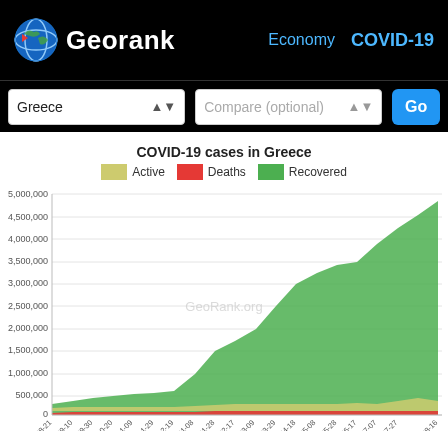Georank — Economy COVID-19
Greece | Compare (optional) | Go
COVID-19 cases in Greece
[Figure (area-chart): Stacked area chart showing COVID-19 Active, Deaths, and Recovered cases in Greece from 2021-08-21 to 2022-08-16. Green (Recovered) dominates, growing from ~500k to ~4.6M. Yellow (Active) and Red (Deaths) form thin bands at the bottom.]